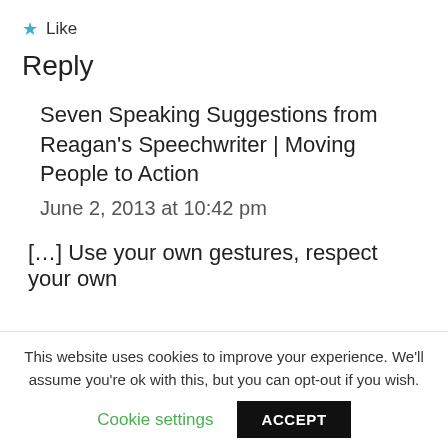★ Like
Reply
Seven Speaking Suggestions from Reagan's Speechwriter | Moving People to Action
June 2, 2013 at 10:42 pm
[…] Use your own gestures, respect your own
This website uses cookies to improve your experience. We'll assume you're ok with this, but you can opt-out if you wish.
Cookie settings   ACCEPT